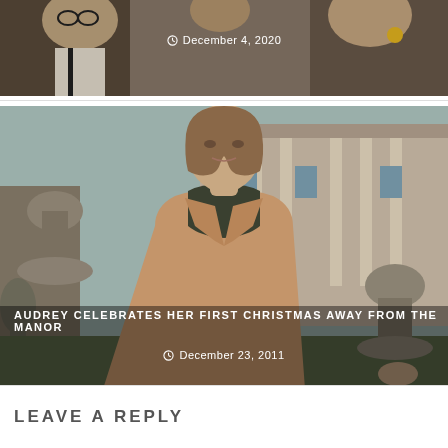[Figure (photo): Top portion of a photo showing people at what appears to be a social gathering, partially cropped]
December 4, 2020
[Figure (photo): Woman in a tan/camel coat and dark turtleneck standing in front of a large manor house with stone fountains, outdoor setting, vintage/retro photo style]
AUDREY CELEBRATES HER FIRST CHRISTMAS AWAY FROM THE MANOR
December 23, 2011
LEAVE A REPLY